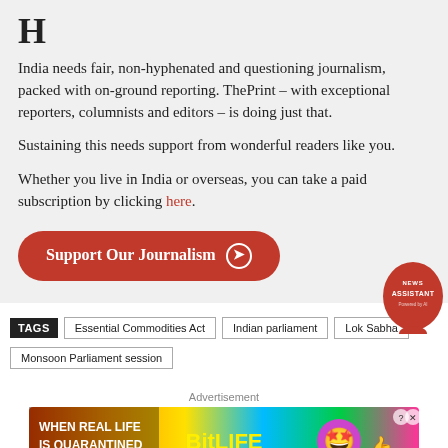India needs fair, non-hyphenated and questioning journalism, packed with on-ground reporting. ThePrint – with exceptional reporters, columnists and editors – is doing just that.
Sustaining this needs support from wonderful readers like you.
Whether you live in India or overseas, you can take a paid subscription by clicking here.
[Figure (other): Orange rounded button reading 'Support Our Journalism' with arrow icon]
TAGS  Essential Commodities Act  Indian parliament  Lok Sabha  Monsoon Parliament session
[Figure (logo): News Assistant red circular badge]
Advertisement
[Figure (photo): BitLife advertisement banner with colorful gradient background, text 'WHEN REAL LIFE IS QUARANTINED', BitLife logo, emoji characters, and 'oola Feed' branding]